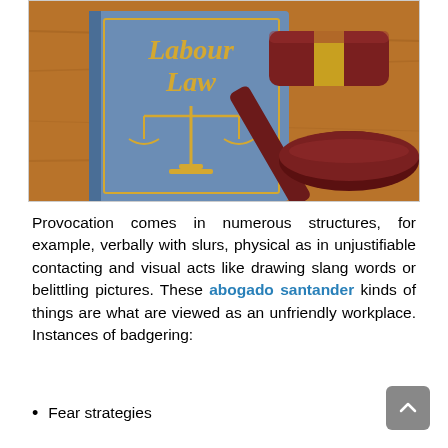[Figure (photo): Photo of a blue Labour Law book with a gold scales of justice symbol, alongside a wooden judge's gavel on a sound block, on a wooden surface.]
Provocation comes in numerous structures, for example, verbally with slurs, physical as in unjustifiable contacting and visual acts like drawing slang words or belittling pictures. These abogado santander kinds of things are what are viewed as an unfriendly workplace. Instances of badgering:
Fear strategies